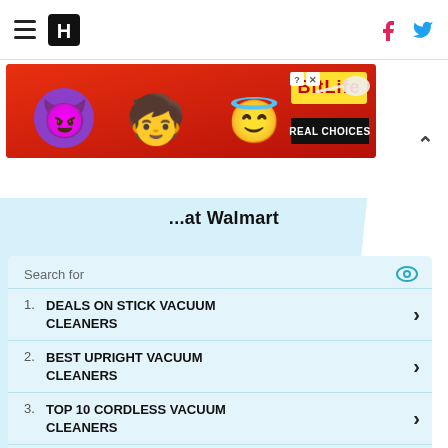HuffPost navigation with hamburger menu, HuffPost logo, Facebook and Twitter icons
[Figure (screenshot): BitLife advertisement banner with red background, cartoon characters (devil, person, angel emoji), BitLife logo in yellow, 'REAL CHOICES' text in white on black, close buttons]
...at Walmart
[Figure (infographic): Sponsored search results list with 5 items: 1. DEALS ON STICK VACUUM CLEANERS, 2. BEST UPRIGHT VACUUM CLEANERS, 3. TOP 10 CORDLESS VACUUM CLEANERS, 4. TOP RATED VACUUM CLEANERS, 5. HEARING AID PRICES. Each has a right chevron arrow. Header says 'Search for' with an eye icon. Footer shows 'Ad | Local'.]